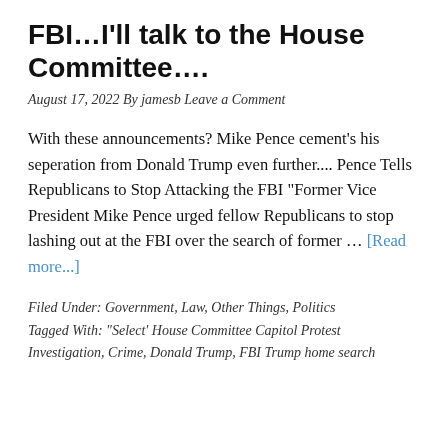FBI…I'll talk to the House Committee….
August 17, 2022 By jamesb Leave a Comment
With these announcements? Mike Pence cement's his seperation from Donald Trump even further.... Pence Tells Republicans to Stop Attacking the FBI "Former Vice President Mike Pence urged fellow Republicans to stop lashing out at the FBI over the search of former … [Read more...]
Filed Under: Government, Law, Other Things, Politics
Tagged With: "Select' House Committee Capitol Protest Investigation, Crime, Donald Trump, FBI Trump home search